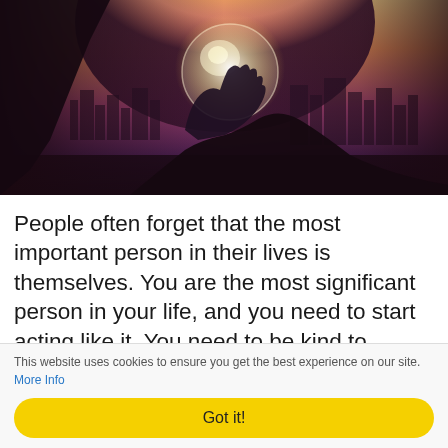[Figure (photo): A hand holding a glowing crystal ball against a dramatic sunset sky with city skyline silhouette in the background. Warm orange, pink, and purple tones.]
People often forget that the most important person in their lives is themselves. You are the most significant person in your life, and you need to start acting like it. You need to be kind to yourself, take care of your needs, and always be gentle. If you don't think you are doing those things, today
This website uses cookies to ensure you get the best experience on our site. More Info
Got it!